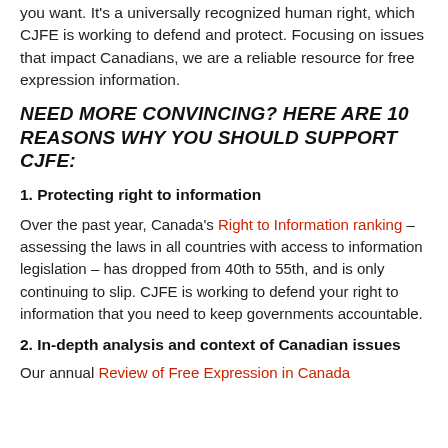you want. It's a universally recognized human right, which CJFE is working to defend and protect. Focusing on issues that impact Canadians, we are a reliable resource for free expression information.
NEED MORE CONVINCING? HERE ARE 10 REASONS WHY YOU SHOULD SUPPORT CJFE:
1. Protecting right to information
Over the past year, Canada's Right to Information ranking – assessing the laws in all countries with access to information legislation – has dropped from 40th to 55th, and is only continuing to slip. CJFE is working to defend your right to information that you need to keep governments accountable.
2. In-depth analysis and context of Canadian issues
Our annual Review of Free Expression in Canada